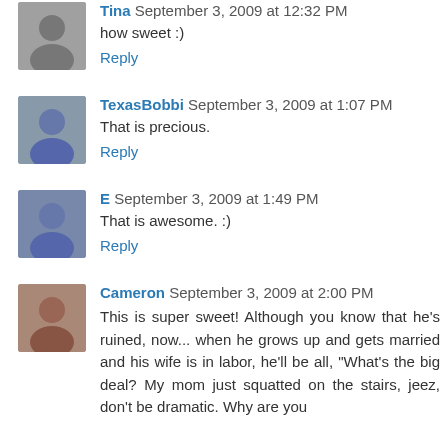Tina September 3, 2009 at 12:32 PM
how sweet :)
Reply
TexasBobbi September 3, 2009 at 1:07 PM
That is precious.
Reply
E September 3, 2009 at 1:49 PM
That is awesome. :)
Reply
Cameron September 3, 2009 at 2:00 PM
This is super sweet! Although you know that he's ruined, now... when he grows up and gets married and his wife is in labor, he'll be all, "What's the big deal? My mom just squatted on the stairs, jeez, don't be dramatic. Why are you